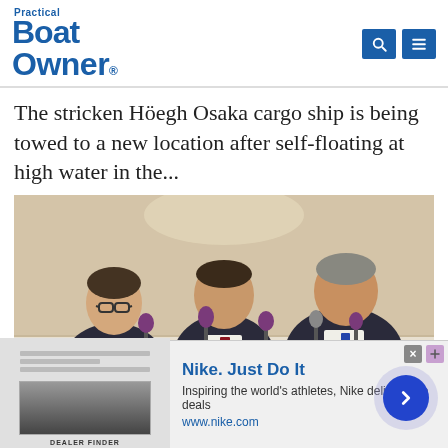Practical Boat Owner
The stricken Höegh Osaka cargo ship is being towed to a new location after self-floating at high water in the...
[Figure (photo): Three men in dark suits seated at a press conference table with microphones in front of them. The man on the left wears glasses, the man in the center wears a red tie, and the man on the right wears a blue tie.]
[Figure (infographic): Advertisement banner for Nike. Just Do It. Inspiring the world's athletes, Nike delivers the deals. www.nike.com]